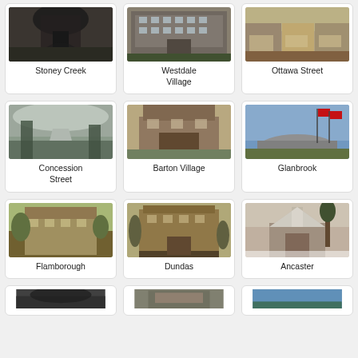[Figure (photo): Black and white photo of Stoney Creek ravine/waterfall area]
Stoney Creek
[Figure (photo): Black and white photo of Westdale Village large school/building]
Westdale Village
[Figure (photo): Color photo of Ottawa Street storefronts]
Ottawa Street
[Figure (photo): Photo of Concession Street road through misty forest]
Concession Street
[Figure (photo): Old sepia photo of Barton Village building]
Barton Village
[Figure (photo): Color photo of Glanbrook with flags and dome structure]
Glanbrook
[Figure (photo): Painting/illustration of Flamborough historic manor house]
Flamborough
[Figure (photo): Sepia photo of Dundas large building/house]
Dundas
[Figure (photo): Winter photo of Ancaster church with snow]
Ancaster
[Figure (photo): Partial photo row 4 left]
[Figure (photo): Partial photo row 4 center]
[Figure (photo): Partial photo row 4 right]